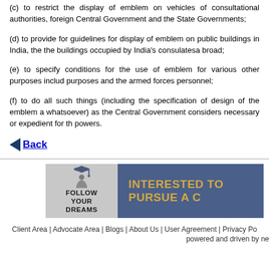(c) to restrict the display of emblem on vehicles of consultational authorities, foreign Central Government and the State Governments;
(d) to provide for guidelines for display of emblem on public buildings in India, the the buildings occupied by India's consulatesa broad;
(e) to specify conditions for the use of emblem for various other purposes includ purposes and the armed forces personnel;
(f) to do all such things (including the specification of design of the emblem a whatsoever) as the Central Government considers necessary or expedient for th powers.
Back
[Figure (illustration): Banner with 'Follow Your Dreams' logo on left and 'INTERESTED TO PURSUE A C' text on right, blue-grey background with gold text]
Client Area | Advocate Area | Blogs | About Us | User Agreement | Privacy Po powered and driven by ne